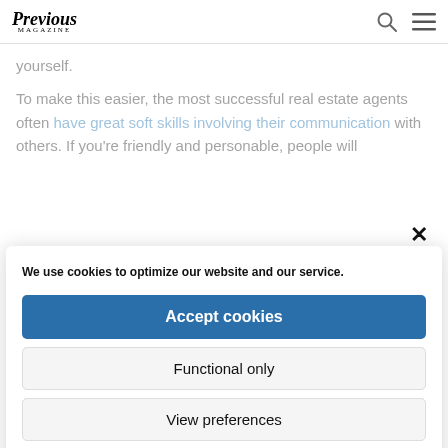Previous Magazine
yourself.
To make this easier, the most successful real estate agents often have great soft skills involving their communication with others. If you're friendly and personable, people will
We use cookies to optimize our website and our service.
Accept cookies
Functional only
View preferences
Cookie Policy  Privacy Policy